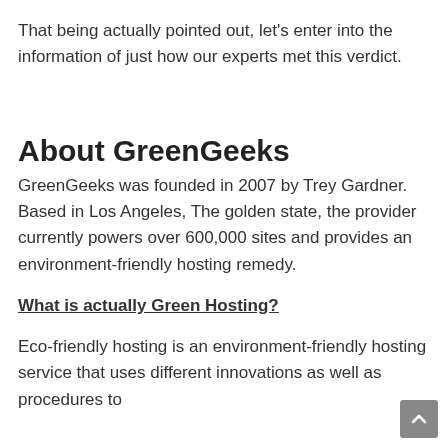That being actually pointed out, let's enter into the information of just how our experts met this verdict.
About GreenGeeks
GreenGeeks was founded in 2007 by Trey Gardner. Based in Los Angeles, The golden state, the provider currently powers over 600,000 sites and provides an environment-friendly hosting remedy.
What is actually Green Hosting?
Eco-friendly hosting is an environment-friendly hosting service that uses different innovations as well as procedures to